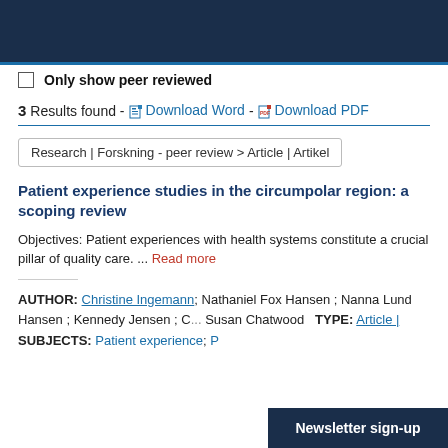(dark navigation bar)
Only show peer reviewed
3 Results found - Download Word - Download PDF
Research | Forskning - peer review > Article | Artikel
Patient experience studies in the circumpolar region: a scoping review
Objectives: Patient experiences with health systems constitute a crucial pillar of quality care. ... Read more
AUTHOR: Christine Ingemann; Nathaniel Fox Hansen ; Nanna Lund Hansen ; Kennedy Jensen ; C... Susan Chatwood   TYPE: Article |   SUBJECTS: Patient experience; P...